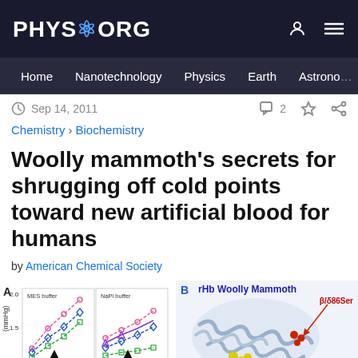PHYS.ORG
Home | Nanotechnology | Physics | Earth | Astronomy
Sep 14, 2011
Chemistry \ Biochemistry
Woolly mammoth's secrets for shrugging off cold points toward new artificial blood for humans
by American Chemical Society
[Figure (continuous-plot): Panel A: Line graph with two sections labeled 'MES buffer' and 'NaPi buffer', showing y-axis labeled '(mmHg)' with values from 1.0 to 2.0. Multiple colored data series with dashed lines (pink circles, blue diamonds, green squares) and arrows labeled '+IHP'.]
[Figure (illustration): Panel B: 3D molecular structure of rHb Woolly Mammoth protein with label 'β/δ86Ser' in red with an arrow pointing to a highlighted region. Protein shown in ribbon/cartoon representation with colored residues.]